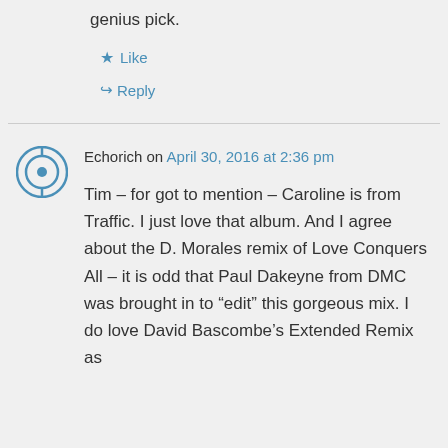genius pick.
Like
Reply
Echorich on April 30, 2016 at 2:36 pm
Tim – for got to mention – Caroline is from Traffic. I just love that album. And I agree about the D. Morales remix of Love Conquers All – it is odd that Paul Dakeyne from DMC was brought in to “edit” this gorgeous mix. I do love David Bascombe’s Extended Remix as